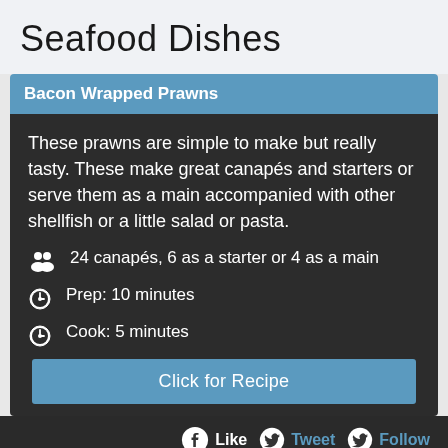Seafood Dishes
Bacon Wrapped Prawns
These prawns are simple to make but really tasty. These make great canapés and starters or serve them as a main accompanied with other shellfish or a little salad or pasta.
24 canapés, 6 as a starter or 4 as a main
Prep: 10 minutes
Cook: 5 minutes
Click for Recipe
Like  Tweet  Follow